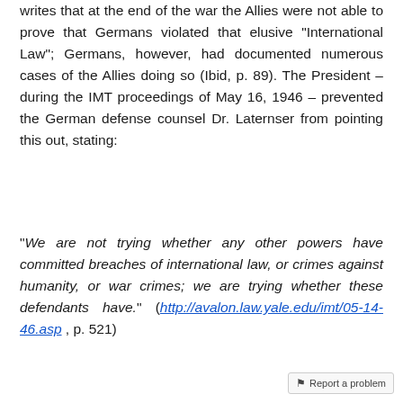writes that at the end of the war the Allies were not able to prove that Germans violated that elusive "International Law"; Germans, however, had documented numerous cases of the Allies doing so (Ibid, p. 89). The President – during the IMT proceedings of May 16, 1946 – prevented the German defense counsel Dr. Laternser from pointing this out, stating:
"We are not trying whether any other powers have committed breaches of international law, or crimes against humanity, or war crimes; we are trying whether these defendants have." (http://avalon.law.yale.edu/imt/05-14-46.asp , p. 521)